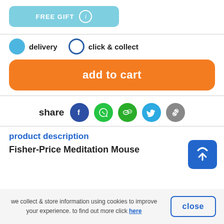[Figure (screenshot): FREE GIFT button with light blue background and info icon]
delivery   click & collect
[Figure (screenshot): add to cart orange button]
[Figure (screenshot): share row with social icons: Facebook, WhatsApp, WeChat, Twitter, Link]
product description
Fisher-Price Meditation Mouse
[Figure (screenshot): Shopping cart FAB icon blue]
we collect & store information using cookies to improve your experience. to find out more click here
[Figure (screenshot): close button with blue border]